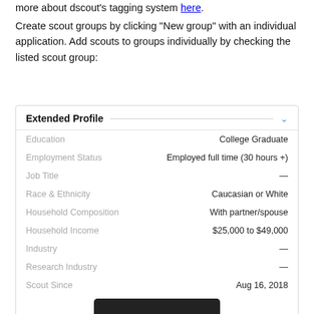more about dscout's tagging system here.
Create scout groups by clicking “New group” with an individual application. Add scouts to groups individually by checking the listed scout group:
| Field | Value |
| --- | --- |
| Education | College Graduate |
| Employment Status | Employed full time (30 hours +) |
| Job Title | — |
| Race & Ethnicity | Caucasian or White |
| Household Composition | With partner/spouse |
| Household Income | $25,000 to $49,000 |
| Industry | — |
| Research Industry | — |
| Scout Since | Aug 16, 2018 |